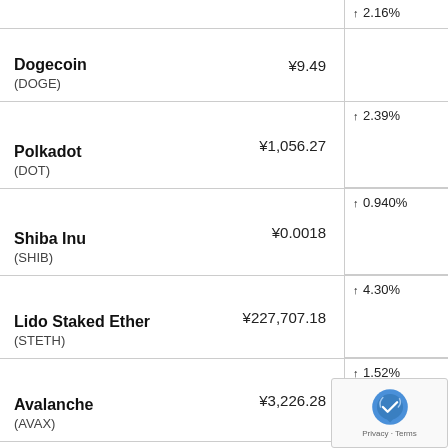| Coin | Price (¥) | Change |
| --- | --- | --- |
| Dogecoin (DOGE) | ¥9.49 | ↑ 2.16% |
| Polkadot (DOT) | ¥1,056.27 | ↑ 2.39% |
| Shiba Inu (SHIB) | ¥0.0018 | ↑ 0.940% |
| Lido Staked Ether (STETH) | ¥227,707.18 | ↑ 4.30% |
| Avalanche (AVAX) | ¥3,226.28 | ↑ 1.52% |
| Dai (DAI) | ¥136.82 | ↑ 0… |